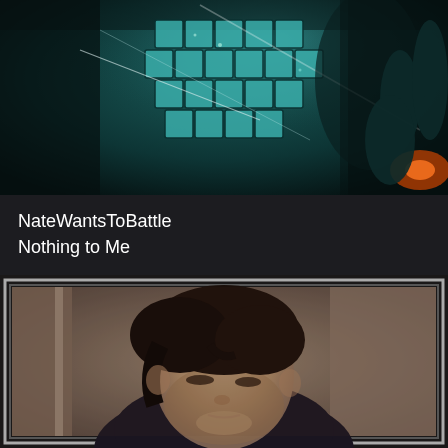[Figure (illustration): Comic book style artwork with teal/dark tones showing a mechanical or armored figure with grid-like texture, dark background, energetic lines]
NateWantsToBattle
Nothing to Me
[Figure (photo): Sepia/monochrome toned portrait photo of a young man with dark hair looking downward, wearing a dark jacket, framed with a gray border]